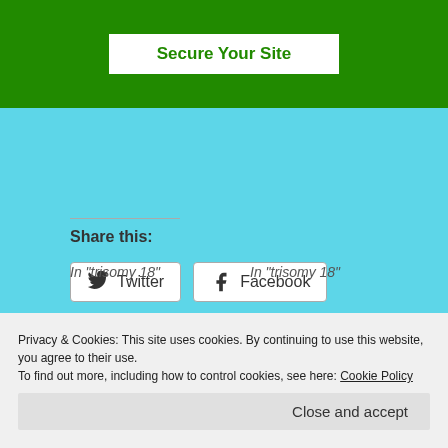[Figure (other): Green banner with white button labeled 'Secure Your Site']
Share this:
Twitter
Facebook
Loading...
Related
Privacy & Cookies: This site uses cookies. By continuing to use this website, you agree to their use.
To find out more, including how to control cookies, see here: Cookie Policy
Close and accept
In "trisomy 18"
In "trisomy 18"